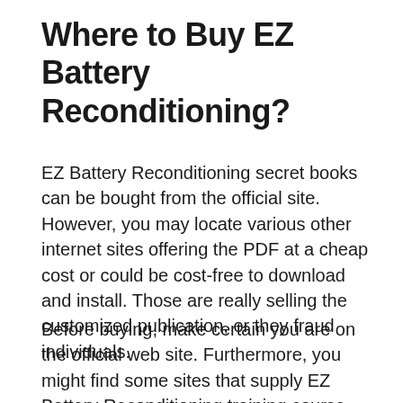Where to Buy EZ Battery Reconditioning?
EZ Battery Reconditioning secret books can be bought from the official site. However, you may locate various other internet sites offering the PDF at a cheap cost or could be cost-free to download and install. Those are really selling the customized publication, or they fraud individuals.
Before buying, make certain you are on the official web site. Furthermore, you might find some sites that supply EZ Battery Reconditioning training course testimonials,